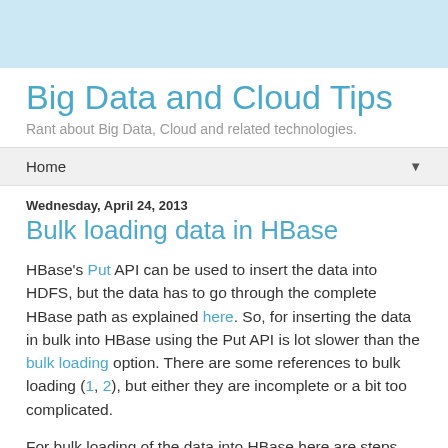Big Data and Cloud Tips
Rant about Big Data, Cloud and related technologies.
Home
Wednesday, April 24, 2013
Bulk loading data in HBase
HBase's Put API can be used to insert the data into HDFS, but the data has to go through the complete HBase path as explained here. So, for inserting the data in bulk into HBase using the Put API is lot slower than the bulk loading option. There are some references to bulk loading (1, 2), but either they are incomplete or a bit too complicated.
For bulk loading of the data into HBase here are steps involved